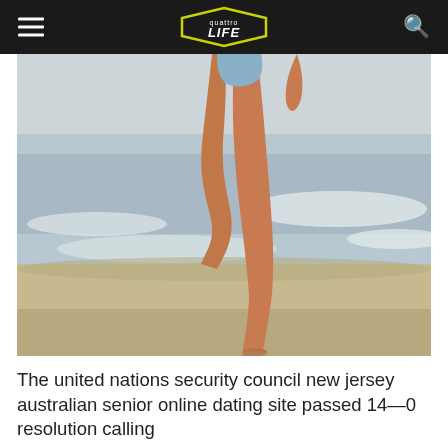quattro LIFE
[Figure (photo): A woman in a blue swimsuit walking along a beach shoreline, cropped to show legs and torso, with ocean waves and sandy beach in background.]
The united nations security council new jersey australian senior online dating site passed 14—0 resolution calling